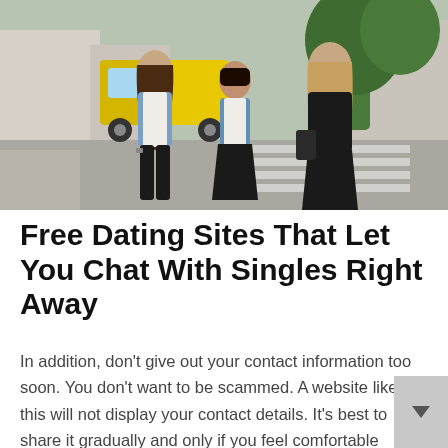[Figure (photo): Three young women walking together on a city street. The woman on the left wears a denim jacket over a white top with black pants; the woman in the middle wears a denim jacket over a white top with a black skirt; the woman on the right wears a black leather jacket. A yellow van and trees are visible in the background.]
Free Dating Sites That Let You Chat With Singles Right Away
In addition, don't give out your contact information too soon. You don't want to be scammed. A website like this will not display your contact details. It's best to share it gradually and only if you feel comfortable doing it. Or you can visit to come another day.